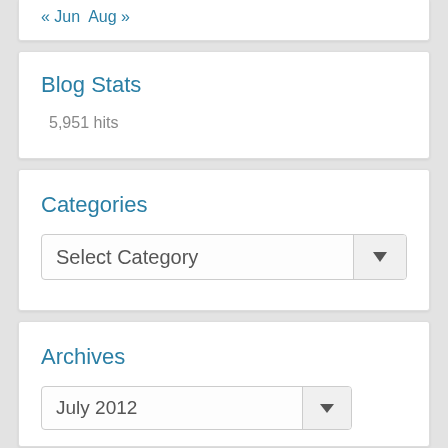« Jun  Aug »
Blog Stats
5,951 hits
Categories
Select Category
Archives
July 2012